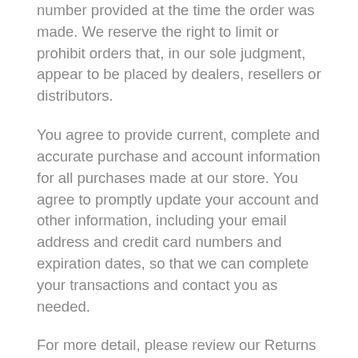number provided at the time the order was made. We reserve the right to limit or prohibit orders that, in our sole judgment, appear to be placed by dealers, resellers or distributors.
You agree to provide current, complete and accurate purchase and account information for all purchases made at our store. You agree to promptly update your account and other information, including your email address and credit card numbers and expiration dates, so that we can complete your transactions and contact you as needed.
For more detail, please review our Returns Policy.
SECTION 7 – OPTIONAL TOOLS
We may provide you with access to third-party tools over which we neither monitor nor have any